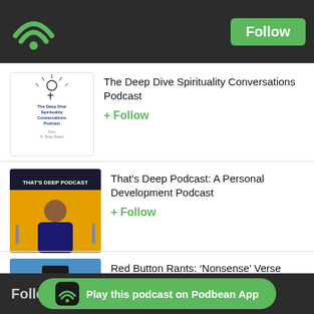Follow
The Deep Dive Spirituality Conversations Podcast
+ Follow
That's Deep Podcast: A Personal Development Podcast
+ Follow
Red Button Rants: 'Nonsense' Verse Impresario
+ Follow
More...
Followers
Play this podcast on Podbean App